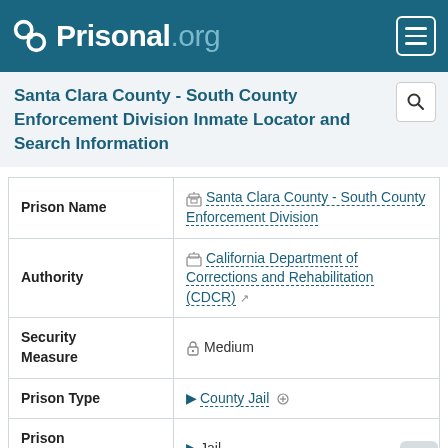Prisonal.org
Santa Clara County - South County Enforcement Division Inmate Locator and Search Information
| Field | Value |
| --- | --- |
| Prison Name | Santa Clara County - South County Enforcement Division |
| Authority | California Department of Corrections and Rehabilitation (CDCR) |
| Security Measure | Medium |
| Prison Type | County Jail |
| Prison Category | Jail |